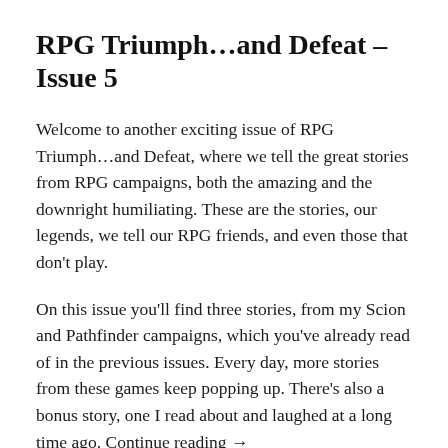RPG Triumph…and Defeat – Issue 5
Welcome to another exciting issue of RPG Triumph…and Defeat, where we tell the great stories from RPG campaigns, both the amazing and the downright humiliating. These are the stories, our legends, we tell our RPG friends, and even those that don't play.
On this issue you'll find three stories, from my Scion and Pathfinder campaigns, which you've already read of in the previous issues. Every day, more stories from these games keep popping up. There's also a bonus story, one I read about and laughed at a long time ago. Continue reading →